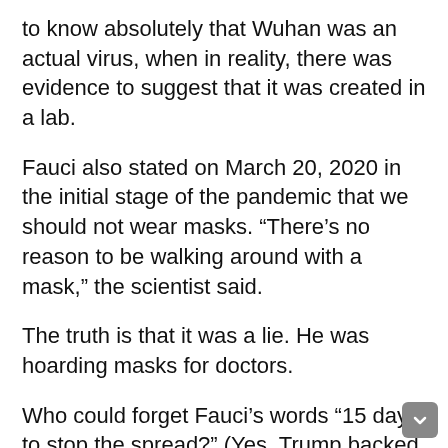to know absolutely that Wuhan was an actual virus, when in reality, there was evidence to suggest that it was created in a lab.
Fauci also stated on March 20, 2020 in the initial stage of the pandemic that we should not wear masks. “There’s no reason to be walking around with a mask,” the scientist said.
The truth is that it was a lie. He was hoarding masks for doctors.
Who could forget Fauci’s words “15 days to stop the spread?” (Yes, Trump backed the recommendation; however, the recommendation came from Fauci and Co. who suggested the idea.) It’s been more than 800